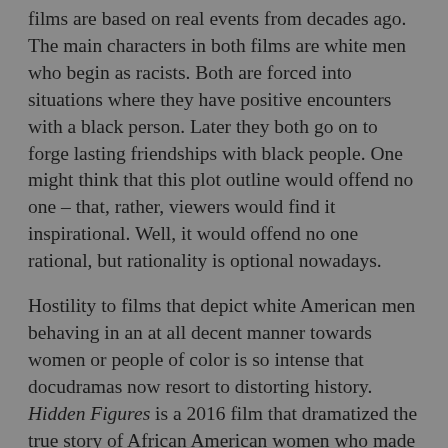films are based on real events from decades ago. The main characters in both films are white men who begin as racists. Both are forced into situations where they have positive encounters with a black person. Later they both go on to forge lasting friendships with black people. One might think that this plot outline would offend no one – that, rather, viewers would find it inspirational. Well, it would offend no one rational, but rationality is optional nowadays.

Hostility to films that depict white American men behaving in an at all decent manner towards women or people of color is so intense that docudramas now resort to distorting history. Hidden Figures is a 2016 film that dramatized the true story of African American women who made significant contributions to NASA's space race. The film depicts a handful of women who, on their own and without significant support from any white men, break through pervasive racism and sexism. Any thinking person will recognize that this aspect of the film cannot be accurate. Without white and male allies, the Civil Rights Movement and feminism never would have gotten off the ground. In fact, in several respects, Hidden Figures changed historical realities in order to worsen the image of the majority white males working at NASA. The most notorious distortion in the film was [red link text] about something...